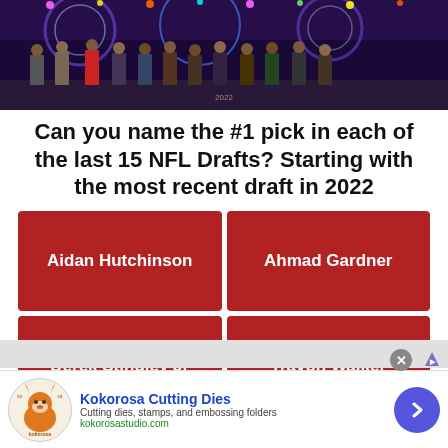[Figure (photo): Group of NFL draft prospects standing on stage at the 2022 NFL Draft event with colorful lights and decorations in the background]
Can you name the #1 pick in each of the last 15 NFL Drafts? Starting with the most recent draft in 2022
Aidan Hutchinson
Ahmad Gardner
Derek Stingley Jr
Travon Walker
[Figure (logo): Kokorosa Cutting Dies advertisement with fox logo, blue title text, description 'Cutting dies, stamps, and embossing folders', website kokorosastudio.com, and blue arrow button]